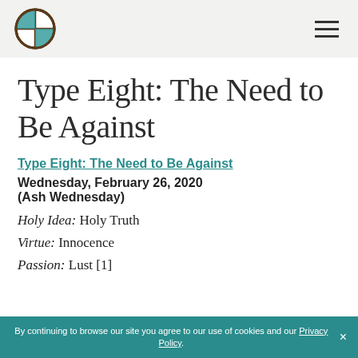[Logo] Type Eight: The Need to Be Against — navigation header
Type Eight: The Need to Be Against
Type Eight: The Need to Be Against
Wednesday, February 26, 2020
(Ash Wednesday)
Holy Idea: Holy Truth
Virtue: Innocence
Passion: Lust [1]
By continuing to browse our site you agree to our use of cookies and our Privacy Policy. ×